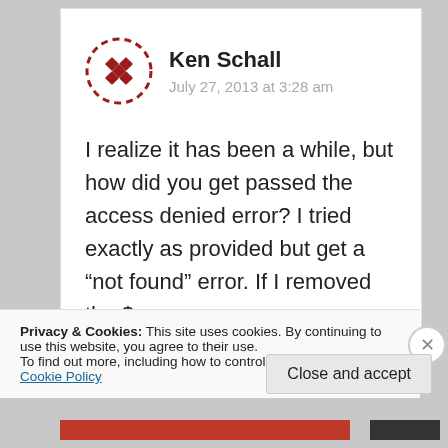Ken Schall
July 27, 2013 at 3:28 am
I realize it has been a while, but how did you get passed the access denied error? I tried exactly as provided but get a “not found” error. If I removed the $
Privacy & Cookies: This site uses cookies. By continuing to use this website, you agree to their use.
To find out more, including how to control cookies, see here: Cookie Policy
Close and accept